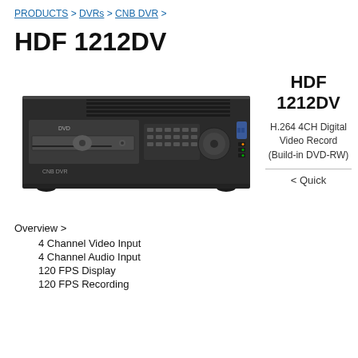PRODUCTS > DVRs > CNB DVR >
HDF 1212DV
[Figure (photo): Front view of HDF 1212DV DVR unit, a black rack-mounted device with DVD-RW drive, control buttons, jog dial, and USB ports on the front panel.]
HDF 1212DV
H.264 4CH Digital Video Record (Build-in DVD-RW)
< Quick
Overview >
4 Channel Video Input
4 Channel Audio Input
120 FPS Display
120 FPS Recording